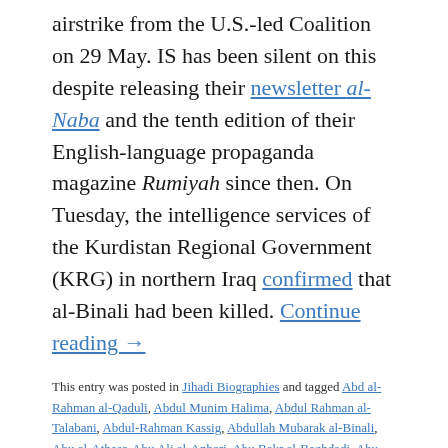airstrike from the U.S.-led Coalition on 29 May. IS has been silent on this despite releasing their newsletter al-Naba and the tenth edition of their English-language propaganda magazine Rumiyah since then. On Tuesday, the intelligence services of the Kurdistan Regional Government (KRG) in northern Iraq confirmed that al-Binali had been killed. Continue reading →
This entry was posted in Jihadi Biographies and tagged Abd al-Rahman al-Qaduli, Abdul Munim Halima, Abdul Rahman al-Talabani, Abdul-Rahman Kassig, Abdullah Mubarak al-Binali, Abu al-Atheer, Abu Ali al-Anbari, Abu Bakr al-Baghdadi, Abu Bakr al-Qahtani, Abu Basir al-Tartusi, Abu Hamam al-Athari, Abu Hammam al-Athari, Abu Hazm al-Salafi, Abu Hudayfa al-Bahraini, Abu Humam al-Athari, Abu Karim, Abu Mahmud al-Filistini, Abu Muhammad al-Adnani, Abu Muhammad al-Maqdisi, Abu Qatada al-Filistini,